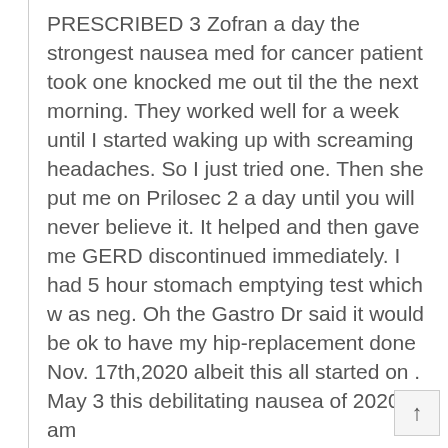PRESCRIBED 3 Zofran a day the strongest nausea med for cancer patient took one knocked me out til the the next morning. They worked well for a week until I started waking up with screaming headaches. So I just tried one. Then she put me on Prilosec 2 a day until you will never believe it. It helped and then gave me GERD discontinued immediately. I had 5 hour stomach emptying test which w as neg. Oh the Gastro Dr said it would be ok to have my hip-replacement done Nov. 17th,2020 albeit this all started on . May 3 this debilitating nausea of 2020. I am